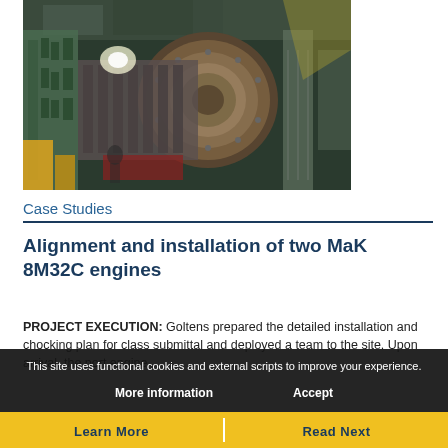[Figure (photo): Industrial engine room interior showing large marine diesel engines, machinery, green metallic structures, pipes, and equipment in a ship's engine room.]
Case Studies
Alignment and installation of two MaK 8M32C engines
PROJECT EXECUTION: Goltens prepared the detailed installation and chocking plan for class submittal and deployed a team to the site. Upon arrival, the port engine
This site uses functional cookies and external scripts to improve your experience.
More information   Accept
Learn More   Read Next